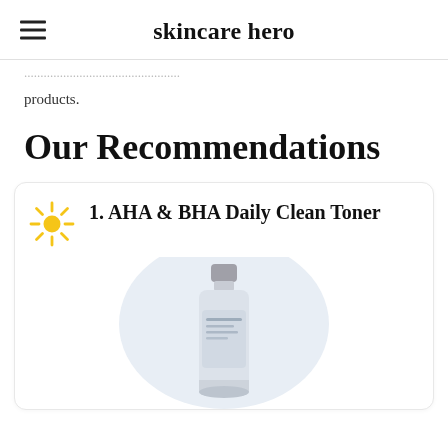skincare hero
products.
Our Recommendations
1. AHA & BHA Daily Clean Toner
[Figure (photo): Product photo of a toner bottle (AHA & BHA Daily Clean Toner) on a light blue circular background]